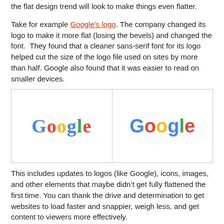the flat design trend will look to make things even flatter.
Take for example Google's logo. The company changed its logo to make it more flat (losing the bevels) and changed the font.  They found that a cleaner sans-serif font for its logo helped cut the size of the logo file used on sites by more than half. Google also found that it was easier to read on smaller devices.
[Figure (illustration): Side by side comparison of old Google logo (serif font) and new Google logo (sans-serif font)]
This includes updates to logos (like Google), icons, images, and other elements that maybe didn't get fully flattened the first time. You can thank the drive and determination to get websites to load faster and snappier, weigh less, and get content to viewers more effectively.
We're also starting to see more websites ditching the use of stock elements such as stock photography and icon sets ever